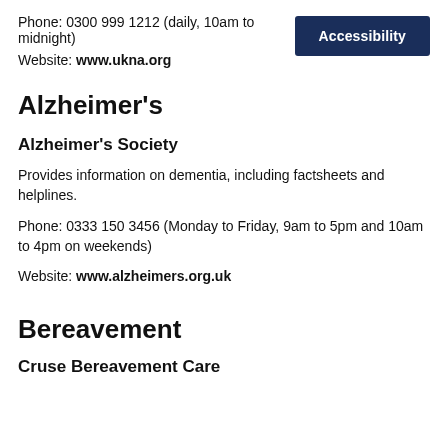Phone: 0300 999 1212 (daily, 10am to midnight)
Website: www.ukna.org
Accessibility
Alzheimer's
Alzheimer's Society
Provides information on dementia, including factsheets and helplines.
Phone: 0333 150 3456 (Monday to Friday, 9am to 5pm and 10am to 4pm on weekends)
Website: www.alzheimers.org.uk
Bereavement
Cruse Bereavement Care